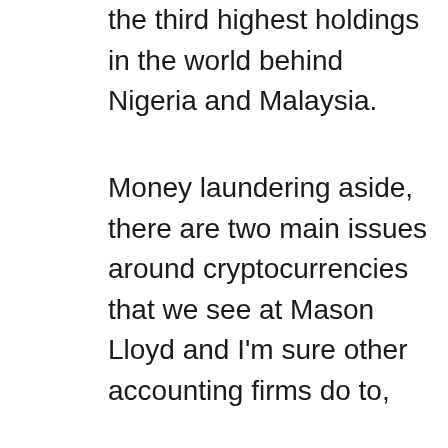the third highest holdings in the world behind Nigeria and Malaysia.
Money laundering aside, there are two main issues around cryptocurrencies that we see at Mason Lloyd and I'm sure other accounting firms do to,
1. People don't think their cryptocurrency has anything to do with the ATO
2. It's their own little secret that no one else knows about
Unfortunately, for the majority of cryptocurrency holders, both statements 1 & 2